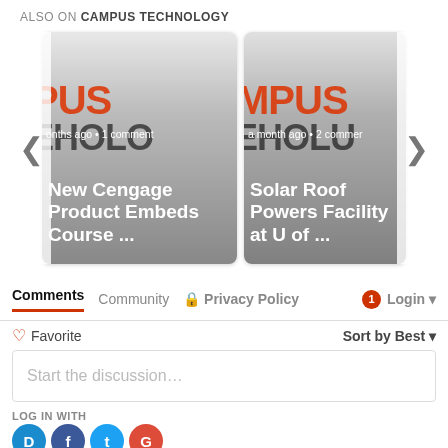ALSO ON CAMPUS TECHNOLOGY
[Figure (screenshot): Two article cards from Campus Technology: 'New Cengage Product Embeds Course ...' (a few months ago, 1 comment) and 'Solar Roof Powers Facility at U of ...' (a month ago, 2 comments), with left/right navigation arrows.]
Comments  Community  Privacy Policy  1  Login
Favorite  Sort by Best
Start the discussion…
LOG IN WITH